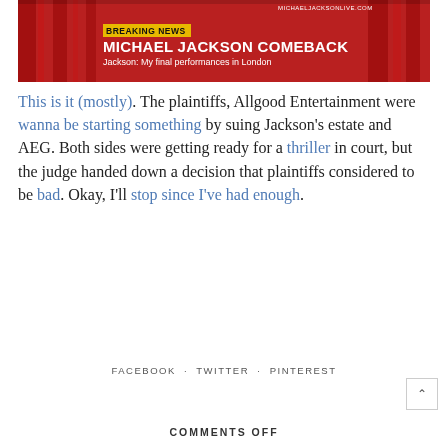[Figure (screenshot): Breaking news chyron image: red curtain background with white text overlay reading 'BREAKING NEWS / MICHAEL JACKSON COMEBACK / Jackson: My final performances in London' and watermark MICHAELJACKSONLIVE.COM]
This is it (mostly). The plaintiffs, Allgood Entertainment were wanna be starting something by suing Jackson's estate and AEG. Both sides were getting ready for a thriller in court, but the judge handed down a decision that plaintiffs considered to be bad. Okay, I'll stop since I've had enough.
FACEBOOK · TWITTER · PINTEREST
COMMENTS OFF